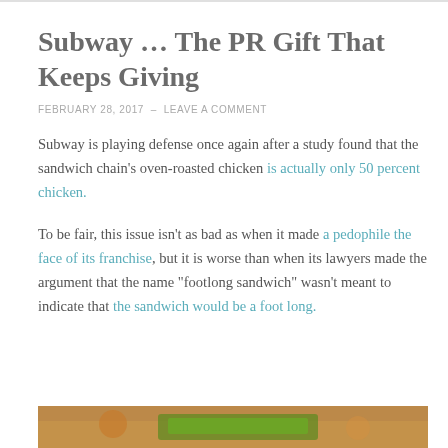Subway … The PR Gift That Keeps Giving
FEBRUARY 28, 2017  –  LEAVE A COMMENT
Subway is playing defense once again after a study found that the sandwich chain's oven-roasted chicken is actually only 50 percent chicken.
To be fair, this issue isn't as bad as when it made a pedophile the face of its franchise, but it is worse than when its lawyers made the argument that the name "footlong sandwich" wasn't meant to indicate that the sandwich would be a foot long.
[Figure (photo): Partial view of a Subway-related image at the bottom of the page, showing warm orange/brown tones]